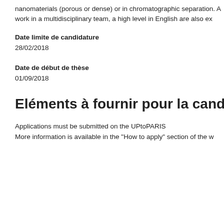nanomaterials (porous or dense) or in chromatographic separation. A work in a multidisciplinary team, a high level in English are also ex
Date limite de candidature
28/02/2018
Date de début de thèse
01/09/2018
Eléments à fournir pour la candidature
Applications must be submitted on the UPtoPARIS
More information is available in the "How to apply" section of the w